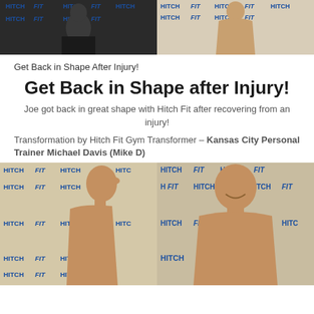[Figure (photo): Two before/after photos at top of page with Hitch Fit branded backdrop. Left photo shows person in dark clothing, right shows person shirtless against Hitch Fit banner.]
Get Back in Shape After Injury!
Get Back in Shape after Injury!
Joe got back in great shape with Hitch Fit after recovering from an injury!
Transformation by Hitch Fit Gym Transformer – Kansas City Personal Trainer Michael Davis (Mike D)
[Figure (photo): Two side-by-side transformation photos of Joe against Hitch Fit branded backdrop. Left photo shows side profile (before), right photo shows front-facing smiling (after).]